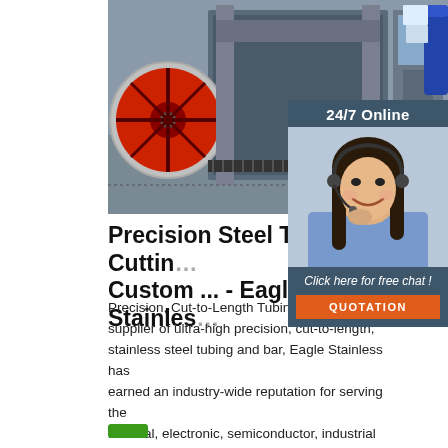[Figure (photo): Industrial steel tube cutting machinery in a factory setting with red spool/reel on the left side and various mechanical equipment]
[Figure (photo): 24/7 Online customer service representative - woman with headset smiling, with a dark blue-gray panel showing '24/7 Online', 'Click here for free chat!' and an orange QUOTATION button]
Precision Steel Tube Cutting Custom ... - Eagle Stainless
Precision, Cut-to-Length Tubing. As the leading supplier of ultra-high precision, cut-to-length, stainless steel tubing and bar, Eagle Stainless has earned an industry-wide reputation for serving the medical, electronic, semiconductor, industrial and aerospace industries ...